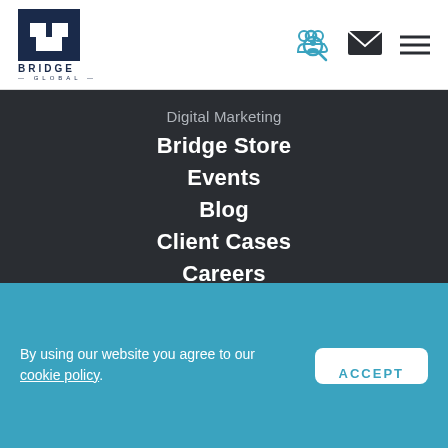[Figure (logo): Bridge Global logo - dark blue building/arch icon with BRIDGE GLOBAL text below]
[Figure (illustration): Blue people/search icon, dark envelope/mail icon, dark hamburger menu icon in header]
Digital Marketing
Bridge Store
Events
Blog
Client Cases
Careers
By using our website you agree to our cookie policy.
ACCEPT